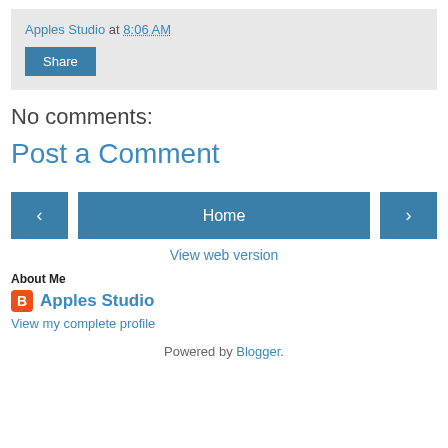Apples Studio at 8:06 AM
Share
No comments:
Post a Comment
‹
Home
›
View web version
About Me
Apples Studio
View my complete profile
Powered by Blogger.